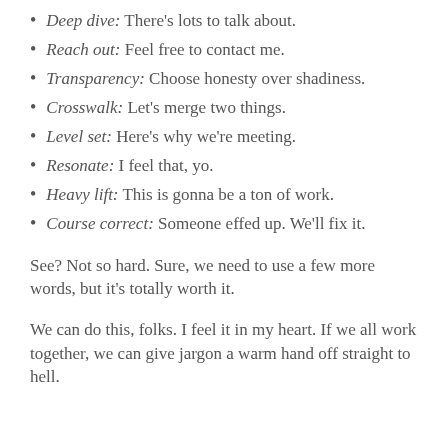Deep dive: There's lots to talk about.
Reach out: Feel free to contact me.
Transparency: Choose honesty over shadiness.
Crosswalk: Let's merge two things.
Level set: Here's why we're meeting.
Resonate: I feel that, yo.
Heavy lift: This is gonna be a ton of work.
Course correct: Someone effed up. We'll fix it.
See? Not so hard. Sure, we need to use a few more words, but it's totally worth it.
We can do this, folks. I feel it in my heart. If we all work together, we can give jargon a warm hand off straight to hell.